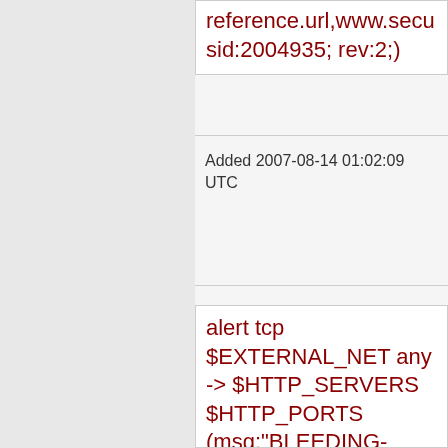reference.url,www.securityfocus.com/bid/25220; sid:2004935; rev:2;)
Added 2007-08-14 01:02:09 UTC
alert tcp $EXTERNAL_NET any -> $HTTP_SERVERS $HTTP_PORTS (msg:"BLEEDING-EDGE WEB PSY Auction SQL Injection Attempt -- item.php id UPDATE"; flow:established,to_server; uricontent:"/item.php?"; nocase;